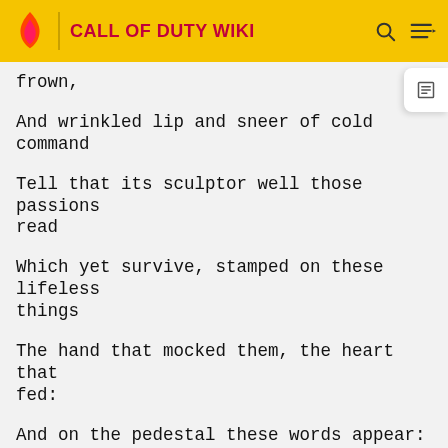CALL OF DUTY WIKI
frown,
And wrinkled lip and sneer of cold command
Tell that its sculptor well those passions read
Which yet survive, stamped on these lifeless things
The hand that mocked them, the heart that fed:
And on the pedestal these words appear:
'My name is Ozymandias, king of kings: